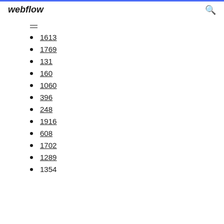webflow
1613
1769
131
160
1060
396
248
1916
608
1702
1289
1354